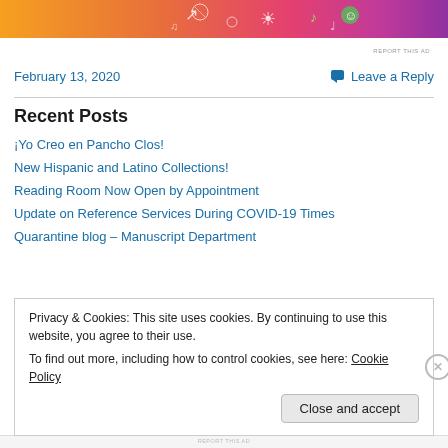[Figure (illustration): Colorful banner with festive illustrated art on gradient orange-to-pink-to-purple background]
REPORT THIS AD
February 13, 2020
Leave a Reply
Recent Posts
¡Yo Creo en Pancho Clos!
New Hispanic and Latino Collections!
Reading Room Now Open by Appointment
Update on Reference Services During COVID-19 Times
Quarantine blog – Manuscript Department
Privacy & Cookies: This site uses cookies. By continuing to use this website, you agree to their use.
To find out more, including how to control cookies, see here: Cookie Policy
Close and accept